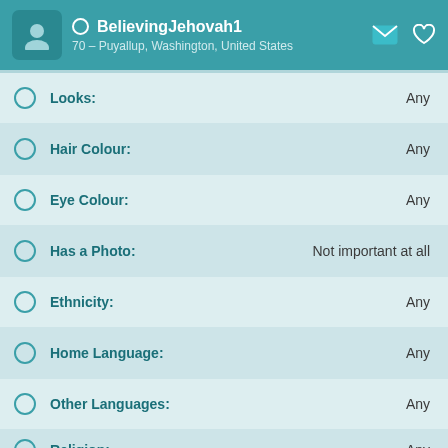BelievingJehovah1 – 70 – Puyallup, Washington, United States
Looks: Any
Hair Colour: Any
Eye Colour: Any
Has a Photo: Not important at all
Ethnicity: Any
Home Language: Any
Other Languages: Any
Religion: Any